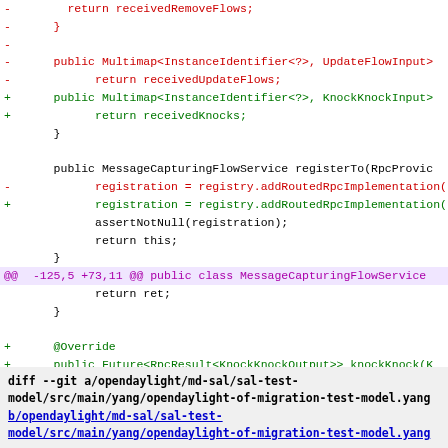[Figure (screenshot): Code diff snippet showing Java source changes with red (removed) and green (added) lines, including method changes for MessageCapturingFlowService, hunk headers in purple, and a git diff footer for YANG model files.]